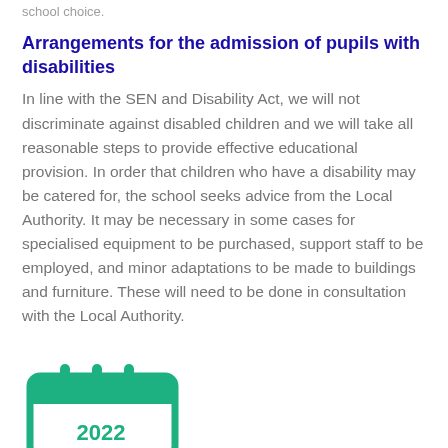school choice.
Arrangements for the admission of pupils with disabilities
In line with the SEN and Disability Act, we will not discriminate against disabled children and we will take all reasonable steps to provide effective educational provision. In order that children who have a disability may be catered for, the school seeks advice from the Local Authority. It may be necessary in some cases for specialised equipment to be purchased, support staff to be employed, and minor adaptations to be made to buildings and furniture. These will need to be done in consultation with the Local Authority.
[Figure (illustration): A green calendar icon showing the year 2022, partially visible at the bottom of the page.]